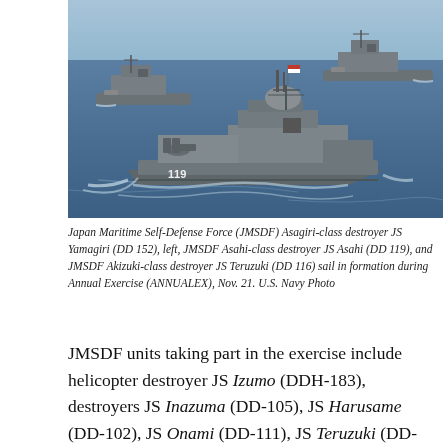[Figure (photo): Three JMSDF destroyers sailing in formation on open ocean. The lead ship (DD 119) is prominently centered and close up, with two other destroyers visible in the background.]
Japan Maritime Self-Defense Force (JMSDF) Asagiri-class destroyer JS Yamagiri (DD 152), left, JMSDF Asahi-class destroyer JS Asahi (DD 119), and JMSDF Akizuki-class destroyer JS Teruzuki (DD 116) sail in formation during Annual Exercise (ANNUALEX), Nov. 21. U.S. Navy Photo
JMSDF units taking part in the exercise include helicopter destroyer JS Izumo (DDH-183), destroyers JS Inazuma (DD-105), JS Harusame (DD-102), JS Onami (DD-111), JS Teruzuki (DD-116), JS Asahi (DD-119), JS Yamagiri (DD-152), JS Kirishima (DDG-174), JS Chokai (DDG-176),